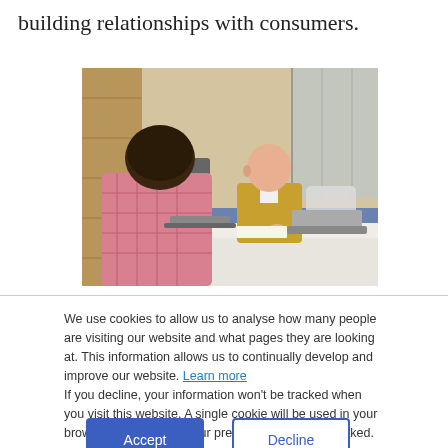building relationships with consumers.
[Figure (photo): Two men sitting across a white table in an office setting. One man seen from behind wearing a pink checked shirt, the other facing forward in a tan blazer. Office chairs and glass partition visible in background.]
We use cookies to allow us to analyse how many people are visiting our website and what pages they are looking at. This information allows us to continually develop and improve our website. Learn more
If you decline, your information won’t be tracked when you visit this website. A single cookie will be used in your browser to remember your preference not to be tracked.
Accept
Decline